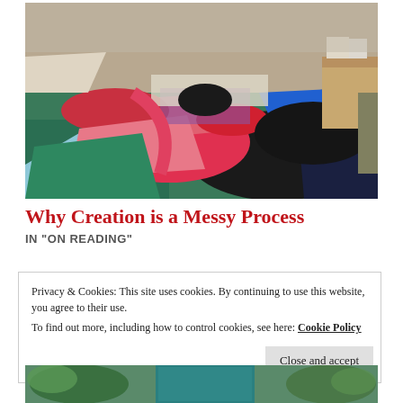[Figure (photo): A bed covered with a large pile of mixed clothing items — includes red, pink, blue, black, teal, and patterned garments in a messy, disorganized arrangement. Room interior visible in background.]
Why Creation is a Messy Process
IN "ON READING"
Privacy & Cookies: This site uses cookies. By continuing to use this website, you agree to their use.
To find out more, including how to control cookies, see here: Cookie Policy
[Figure (photo): Bottom strip of a photo showing green plants and a teal/blue door panel.]